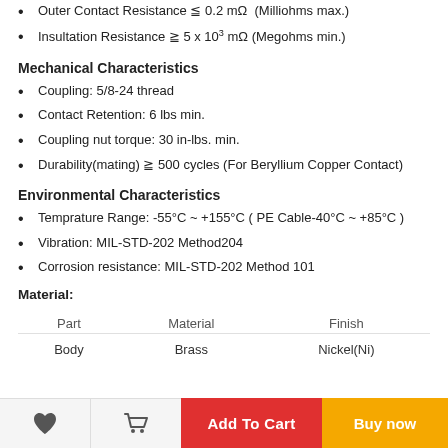Outer Contact Resistance ≦ 0.2 mΩ  (Milliohms max.)
Insultation Resistance ≧ 5 x 10³ mΩ (Megohms min.)
Mechanical Characteristics
Coupling: 5/8-24 thread
Contact Retention: 6 lbs min.
Coupling nut torque: 30 in-lbs. min.
Durability(mating) ≧ 500 cycles (For Beryllium Copper Contact)
Environmental Characteristics
Temprature Range: -55°C ~ +155°C ( PE Cable-40°C ~ +85°C )
Vibration: MIL-STD-202 Method204
Corrosion resistance: MIL-STD-202 Method 101
Material:
| Part | Material | Finish |
| --- | --- | --- |
| Body | Brass | Nickel(Ni) |
Add To Cart | Buy now